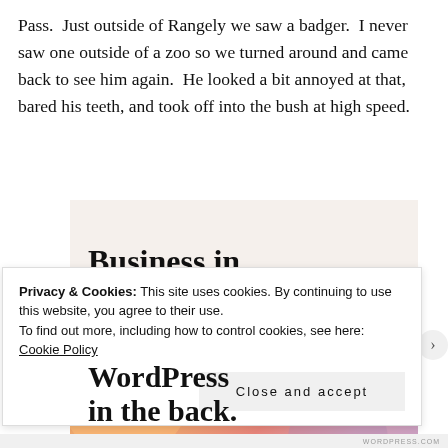Pass.  Just outside of Rangely we saw a badger.  I never saw one outside of a zoo so we turned around and came back to see him again.  He looked a bit annoyed at that, bared his teeth, and took off into the bush at high speed.
[Figure (screenshot): Advertisement image with two sections: a light beige top section showing bold text 'Business in the front...' and a colorful orange-pink gradient bottom section showing bold text 'WordPress in the back.' with decorative circles.]
Privacy & Cookies: This site uses cookies. By continuing to use this website, you agree to their use.
To find out more, including how to control cookies, see here: Cookie Policy
Close and accept